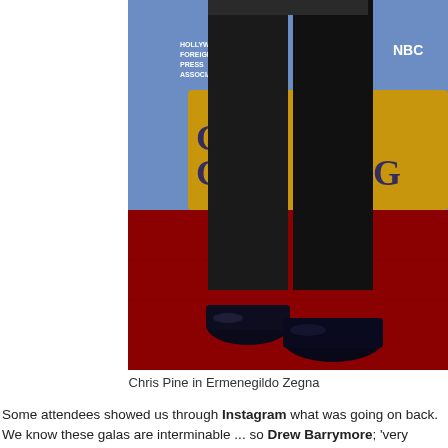[Figure (photo): Photo of Chris Pine's lower body in a black suit and black dress shoes, standing on a red carpet in front of a Golden Globes backdrop with blue background showing Hollywood Foreign Press Association and NBC logos.]
Chris Pine in Ermenegildo Zegna
Some attendees showed us through Instagram what was going on back. We know these galas are interminable ... so Drew Barrymore; 'very pregnant' ... 'snack'.